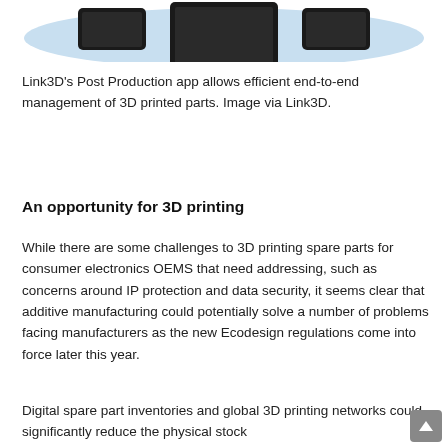[Figure (illustration): Partial view of Link3D Post Production app interface showing mobile/tablet devices on a light blue oval background — top portion of image cropped at page top.]
Link3D's Post Production app allows efficient end-to-end management of 3D printed parts. Image via Link3D.
An opportunity for 3D printing
While there are some challenges to 3D printing spare parts for consumer electronics OEMS that need addressing, such as concerns around IP protection and data security, it seems clear that additive manufacturing could potentially solve a number of problems facing manufacturers as the new Ecodesign regulations come into force later this year.
Digital spare part inventories and global 3D printing networks could significantly reduce the physical stock